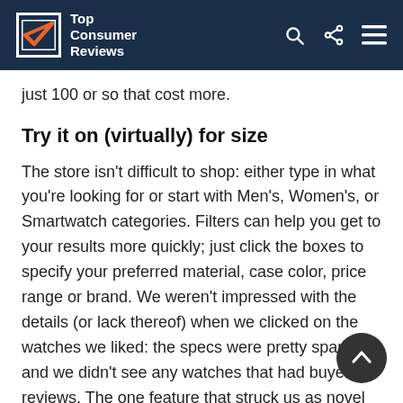Top Consumer Reviews
just 100 or so that cost more.
Try it on (virtually) for size
The store isn't difficult to shop: either type in what you're looking for or start with Men's, Women's, or Smartwatch categories. Filters can help you get to your results more quickly; just click the boxes to specify your preferred material, case color, price range or brand. We weren't impressed with the details (or lack thereof) when we clicked on the watches we liked: the specs were pretty sparse, and we didn't see any watches that had buyer reviews. The one feature that struck us as novel was th... It On" : use your smartwatch to see how the watch would look on your wrist, and/or compare it to a